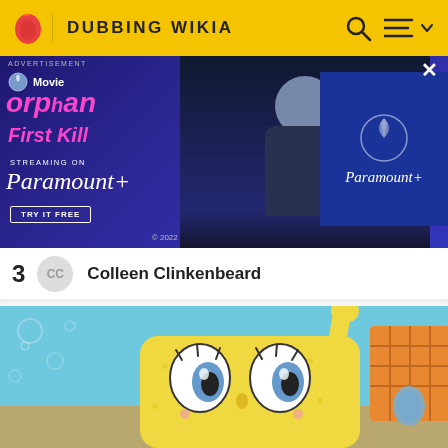DUBBING WIKIA
[Figure (screenshot): Paramount+ advertisement banner for Orphan First Kill movie, showing the movie title in pink text, a dark-themed person silhouette, and Paramount+ logo on blue background with a close button]
Colleen Clinkenbeard
[Figure (screenshot): SpongeBob SquarePants cartoon image showing SpongeBob close-up with big eyes, bubbles in background, sandy underwater scene]
[Figure (infographic): Survey card: Watermelon survey … What do you think about Harry Styles? TAKE THE SURVEY HERE, with purple icon and yellow arrow button]